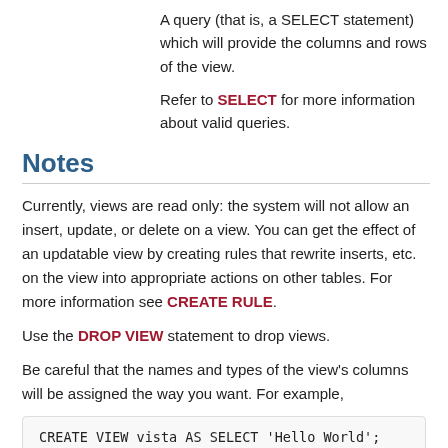A query (that is, a SELECT statement) which will provide the columns and rows of the view.
Refer to SELECT for more information about valid queries.
Notes
Currently, views are read only: the system will not allow an insert, update, or delete on a view. You can get the effect of an updatable view by creating rules that rewrite inserts, etc. on the view into appropriate actions on other tables. For more information see CREATE RULE.
Use the DROP VIEW statement to drop views.
Be careful that the names and types of the view's columns will be assigned the way you want. For example,
CREATE VIEW vista AS SELECT 'Hello World';